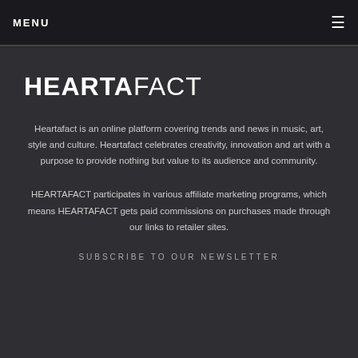MENU
HEARTAFACT
Heartafact is an online platform covering trends and news in music, art, style and culture. Heartafact celebrates creativity, innovation and art with a purpose to provide nothing but value to its audience and community.
HEARTAFACT participates in various affiliate marketing programs, which means HEARTAFACT gets paid commissions on purchases made through our links to retailer sites.
SUBSCRIBE TO OUR NEWSLETTER